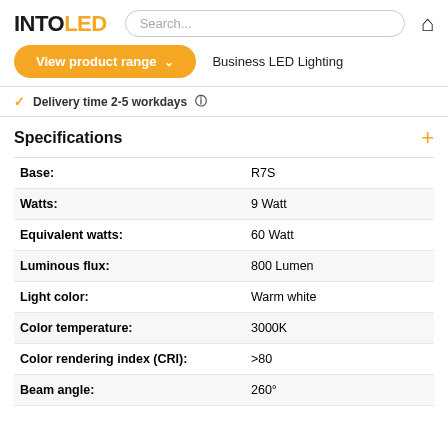[Figure (logo): INTOLED logo with INTO in black bold and LED in orange bold]
Search...
View product range ▾
Business LED Lighting
Delivery time 2-5 workdays
Specifications
| Specification | Value |
| --- | --- |
| Base: | R7S |
| Watts: | 9 Watt |
| Equivalent watts: | 60 Watt |
| Luminous flux: | 800 Lumen |
| Light color: | Warm white |
| Color temperature: | 3000K |
| Color rendering index (CRI): | >80 |
| Beam angle: | 260° |